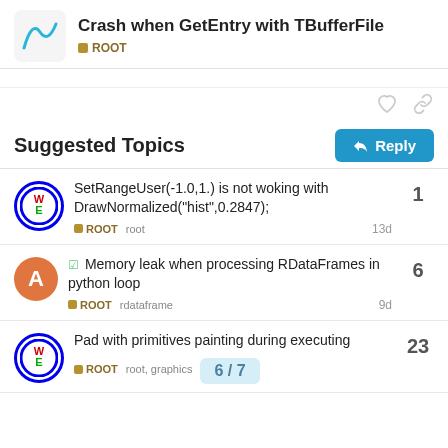Crash when GetEntry with TBufferFile — ROOT
(navigation breadcrumb line, partially visible)
Suggested Topics
SetRangeUser(-1.0,1.) is not woking with DrawNormalized("hist",0.2847); — ROOT, root — 13d — 1 reply
✓ Memory leak when processing RDataFrames in python loop — ROOT, rdataframe — 9d — 6 replies
Pad with primitives painting during executing — ROOT, root, graphics — 23 replies